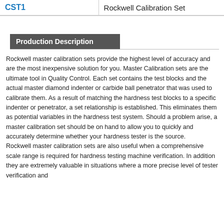| CST1 | Rockwell Calibration Set |
| --- | --- |
Production Description
Rockwell master calibration sets provide the highest level of accuracy and are the most inexpensive solution for you. Master Calibration sets are the ultimate tool in Quality Control. Each set contains the test blocks and the actual master diamond indenter or carbide ball penetrator that was used to calibrate them. As a result of matching the hardness test blocks to a specific indenter or penetrator, a set relationship is established. This eliminates them as potential variables in the hardness test system. Should a problem arise, a master calibration set should be on hand to allow you to quickly and accurately determine whether your hardness tester is the source.
Rockwell master calibration sets are also useful when a comprehensive scale range is required for hardness testing machine verification. In addition they are extremely valuable in situations where a more precise level of tester verification and